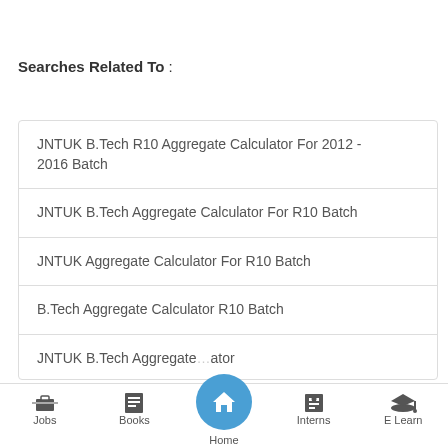Searches Related To :
JNTUK B.Tech R10 Aggregate Calculator For 2012 - 2016 Batch
JNTUK B.Tech Aggregate Calculator For R10 Batch
JNTUK Aggregate Calculator For R10 Batch
B.Tech Aggregate Calculator R10 Batch
JNTUK B.Tech Aggregate Calculator
Jobs   Books   Home   Interns   E Learn